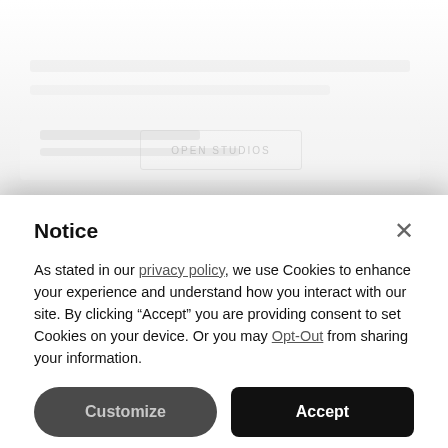[Figure (screenshot): Blurred/faded website background content visible behind a cookie consent modal overlay]
Notice
As stated in our privacy policy, we use Cookies to enhance your experience and understand how you interact with our site. By clicking “Accept” you are providing consent to set Cookies on your device. Or you may Opt-Out from sharing your information.
Customize
Accept